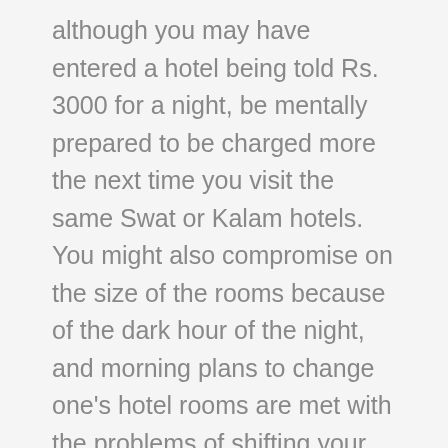although you may have entered a hotel being told Rs. 3000 for a night, be mentally prepared to be charged more the next time you visit the same Swat or Kalam hotels. You might also compromise on the size of the rooms because of the dark hour of the night, and morning plans to change one's hotel rooms are met with the problems of shifting your overflowing luggage.
But times have Changed and Mezban has made local hotel bookings easy for you. With a few clicks, Mezban displays all the accommodation options that you can avail of, and gone were the days when you would pick random hotels on a fluke. Through Mazebaan